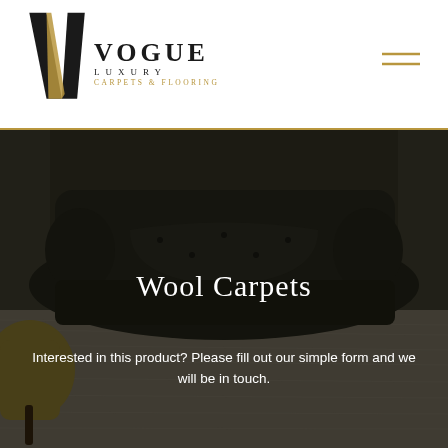[Figure (logo): Vogue Luxury Carpets & Flooring logo with black and gold V chevron mark and text]
[Figure (photo): Dark leather Chesterfield sofa on light wool carpet in a luxury interior room setting, used as hero banner background]
Wool Carpets
Interested in this product? Please fill out our simple form and we will be in touch.